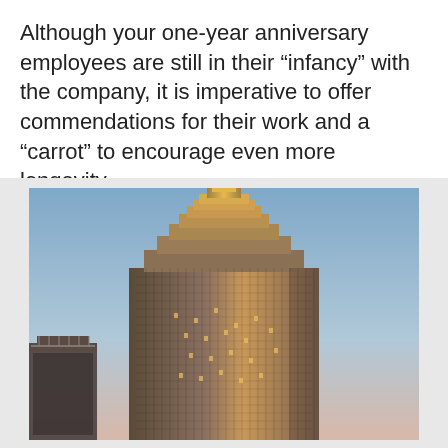Although your one-year anniversary employees are still in their “infancy” with the company, it is imperative to offer commendations for their work and a “carrot” to encourage even more longevity.
[Figure (photo): Photograph of a tall skyscraper building (resembling an Art Deco style tower, similar to the Empire State Building) photographed at dusk or dawn with a gradient sky from blue to pink/peach. A smaller older building is visible in the lower left corner. The main tower is illuminated with warm golden lights.]